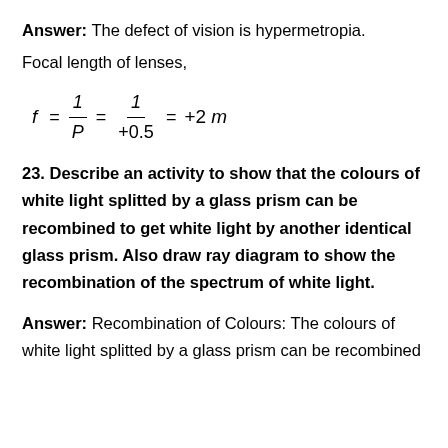Answer: The defect of vision is hypermetropia.
Focal length of lenses,
23. Describe an activity to show that the colours of white light splitted by a glass prism can be recombined to get white light by another identical glass prism. Also draw ray diagram to show the recombination of the spectrum of white light.
Answer: Recombination of Colours: The colours of white light splitted by a glass prism can be recombined to get white light by another identical glass prism.